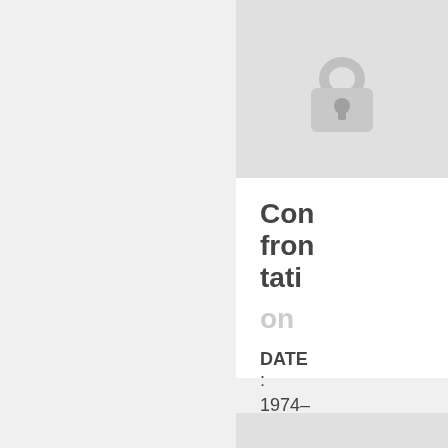[Figure (illustration): A padlock icon in gray/silver tones centered on a light gray background, indicating restricted or confidential content.]
Confrontation
DATE: 1974-03-11